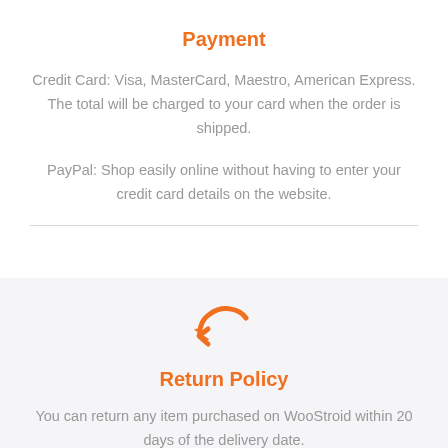Payment
Credit Card: Visa, MasterCard, Maestro, American Express. The total will be charged to your card when the order is shipped.
PayPal: Shop easily online without having to enter your credit card details on the website.
[Figure (illustration): Orange curved arrow icon pointing left (return/undo symbol)]
Return Policy
You can return any item purchased on WooStroid within 20 days of the delivery date.